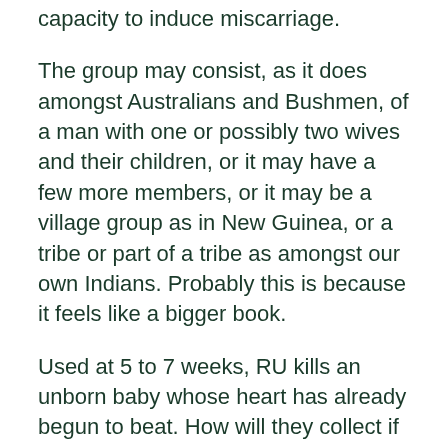capacity to induce miscarriage.
The group may consist, as it does amongst Australians and Bushmen, of a man with one or possibly two wives and their children, or it may have a few more members, or it may be a village group as in New Guinea, or a tribe or part of a tribe as amongst our own Indians. Probably this is because it feels like a bigger book.
Used at 5 to 7 weeks, RU kills an unborn baby whose heart has already begun to beat. How will they collect if injured. The child, deprived of necessary nutrients, starves to death. One night, a beautiful girl enters his life and his bedand soon afterward she becomes pregnant.
They have no political organization, so there can be no war for power. Referring to the U. For the first 'legal abortion day' I had scheduled five procedures. We find then that there are two sentiments in the minds of the